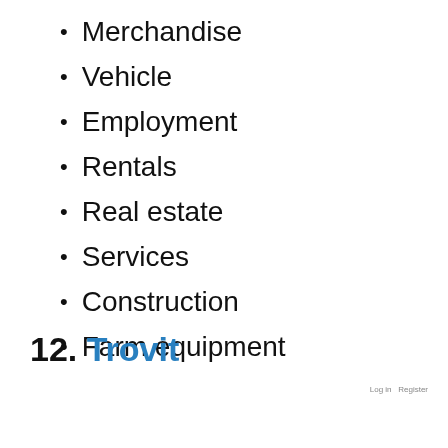Merchandise
Vehicle
Employment
Rentals
Real estate
Services
Construction
Farm equipment
12. Trovit
Log in   Register